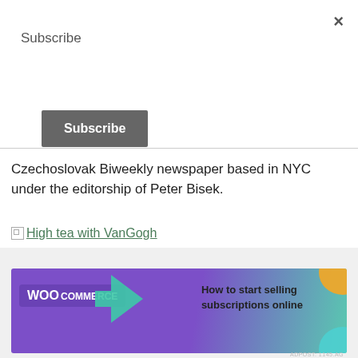×
Subscribe
[Figure (other): Dark grey Subscribe button]
Czechoslovak Biweekly newspaper based in NYC under the editorship of Peter Bisek.
[Figure (other): Broken image placeholder link: High tea with VanGogh]
[Figure (other): Circled X close button]
Advertisements
[Figure (other): WooCommerce advertisement banner: How to start selling subscriptions online]